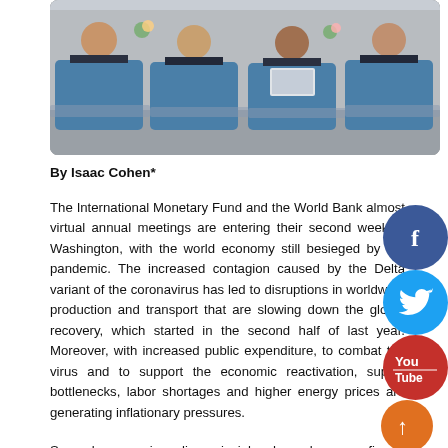[Figure (photo): Photograph of four panelists seated in blue chairs at what appears to be a conference or meeting, arranged in a row]
By Isaac Cohen*
The International Monetary Fund and the World Bank almost virtual annual meetings are entering their second week in Washington, with the world economy still besieged by the pandemic. The increased contagion caused by the Delta variant of the coronavirus has led to disruptions in worldwide production and transport that are slowing down the global recovery, which started in the second half of last year. Moreover, with increased public expenditure, to combat the virus and to support the economic reactivation, supply bottlenecks, labor shortages and higher energy prices are generating inflationary pressures.
Several economic policy principles have been confirmed during the pandemic. For instance, the essential role of public